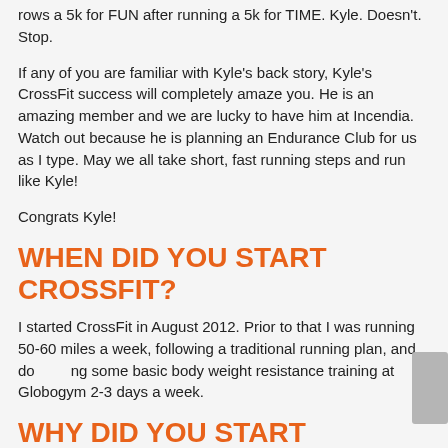rows a 5k for FUN after running a 5k for TIME. Kyle. Doesn't. Stop.
If any of you are familiar with Kyle's back story, Kyle's CrossFit success will completely amaze you. He is an amazing member and we are lucky to have him at Incendia. Watch out because he is planning an Endurance Club for us as I type. May we all take short, fast running steps and run like Kyle!
Congrats Kyle!
WHEN DID YOU START CROSSFIT?
I started CrossFit in August 2012. Prior to that I was running 50-60 miles a week, following a traditional running plan, and doing some basic body weight resistance training at Globogym 2-3 days a week.
WHY DID YOU START